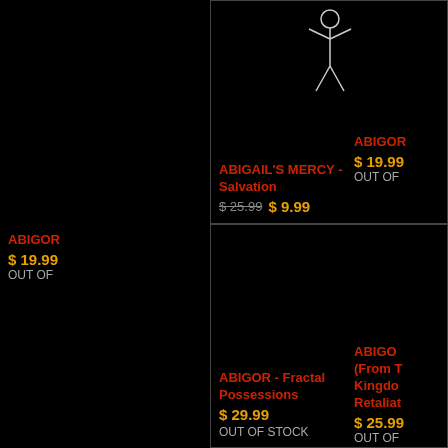[Figure (illustration): Stick figure drawing of a person on black background]
ABIGAIL'S MERCY - Salvation
$ 25.99 $ 9.99
[Figure (photo): Black album cover area for ABIGOR product (partially visible, right column top)]
ABIGOR - (partial title visible)
$ 19.99
OUT OF
[Figure (photo): Black album cover area for ABIGOR Fractal Possessions]
ABIGOR - Fractal Possessions
$ 29.99
OUT OF STOCK
[Figure (photo): Black album cover area for ABIGOR (From The Kingdom of Retaliation) - partially visible]
ABIGOR - (From The Kingdom Retaliation...)
$ 25.99
OUT OF